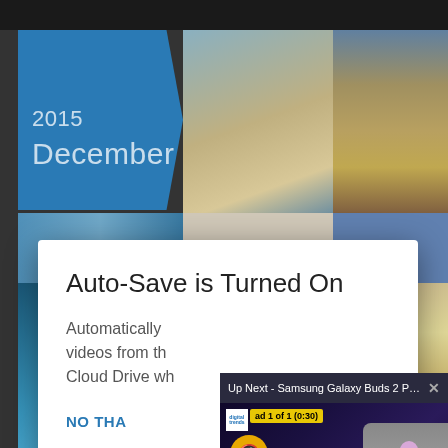[Figure (screenshot): Screenshot of a Google Photos or similar app showing a calendar view with '2015 December' label on a blue arrow panel, alongside photo thumbnails of a beach and a thatched hut]
[Figure (screenshot): Modal dialog with title 'Auto-Save is Turned On' and body text 'Automatically... videos from th... Cloud Drive wh...' with a 'NO THA' button partially visible]
[Figure (screenshot): Video ad overlay showing 'Up Next - Samsung Galaxy Buds 2 Pro r...' with close button, ad counter 'ad 1 of 1 (0:30)', mute button, and Galaxy Buds 2 Pro branding with a presenter holding an earbud]